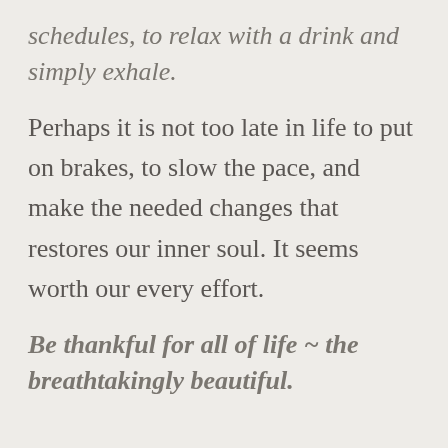schedules, to relax with a drink and simply exhale.
Perhaps it is not too late in life to put on brakes, to slow the pace, and make the needed changes that restores our inner soul. It seems worth our every effort.
Be thankful for all of life ~ the breathtakingly beautiful.